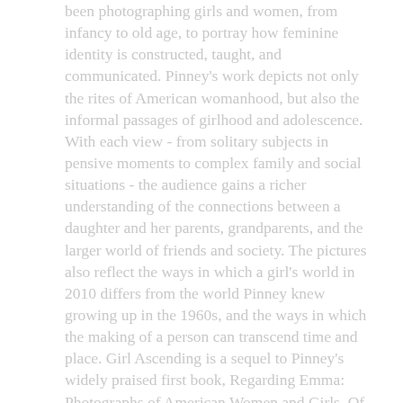been photographing girls and women, from infancy to old age, to portray how feminine identity is constructed, taught, and communicated. Pinney's work depicts not only the rites of American womanhood, but also the informal passages of girlhood and adolescence. With each view - from solitary subjects in pensive moments to complex family and social situations - the audience gains a richer understanding of the connections between a daughter and her parents, grandparents, and the larger world of friends and society. The pictures also reflect the ways in which a girl's world in 2010 differs from the world Pinney knew growing up in the 1960s, and the ways in which the making of a person can transcend time and place. Girl Ascending is a sequel to Pinney's widely praised first book, Regarding Emma: Photographs of American Women and Girls. Of that previous book Janina Ciezaldo wrote in Aperture, "Pinney brings compositional integrity, knowledge of color, and a Midwestern richness of light to her inquiries." This second volume is even more